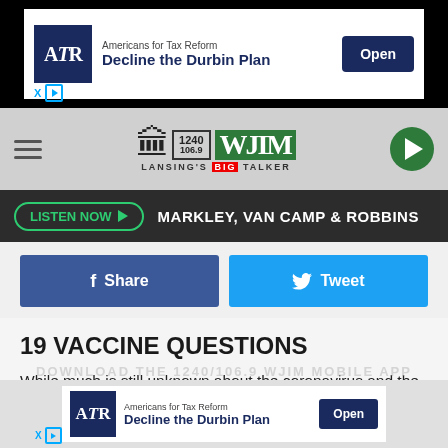[Figure (screenshot): ATR Americans for Tax Reform advertisement banner: 'Decline the Durbin Plan' with Open button]
[Figure (logo): WJIM 1240/106.9 Lansing's Big Talker radio station logo with hamburger menu and play button]
LISTEN NOW ▶  MARKLEY, VAN CAMP & ROBBINS
[Figure (screenshot): Facebook Share and Twitter Tweet social sharing buttons]
19 VACCINE QUESTIONS
While much is still unknown about the coronavirus and the future, what is known is that the currently available vaccines have gone through all three trial phases and are safe and effective. It will be necessary for as many Americans as possible to be vaccinated in order to finally return to some
[Figure (screenshot): ATR Americans for Tax Reform advertisement banner at bottom: 'Decline the Durbin Plan' with Open button]